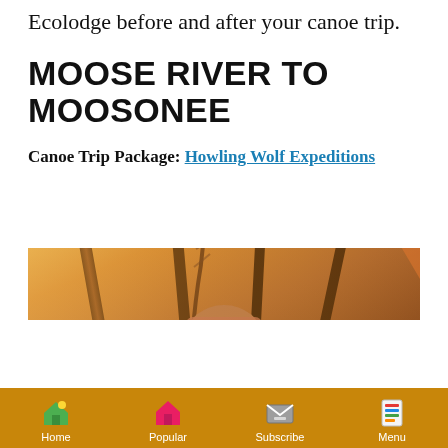Ecolodge before and after your canoe trip.
MOOSE RIVER TO MOOSONEE
Canoe Trip Package: Howling Wolf Expeditions
[Figure (photo): Person wearing a headband inside a tent with warm orange/golden tent fabric and wooden poles visible]
Home | Popular | Subscribe | Menu